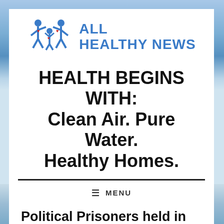[Figure (logo): All Healthy News logo with two adult figures and a child figure in blue with red hearts, next to the text ALL HEALTHY NEWS in bold blue]
HEALTH BEGINS WITH: Clean Air. Pure Water. Healthy Homes.
MENU
Political Prisoners held in Hpa-an Jail are Tortured, Denied Access to Medical